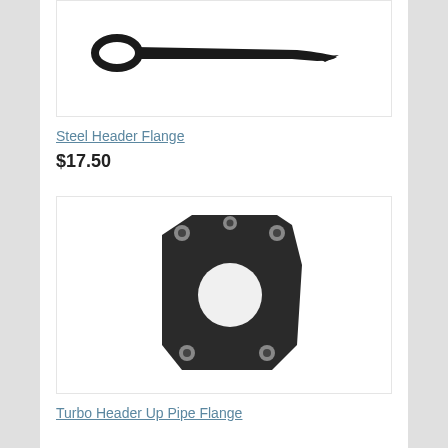[Figure (photo): Steel header flange - a metal cotter pin or clip-like part, black metal, elongated with a loop on one end and a pointed blade on the other, shown on white background]
Steel Header Flange
$17.50
[Figure (photo): Turbo header up pipe flange - a dark/black metal plate with an irregular shape, featuring a large circular hole in the center and several mounting bolt holes around the perimeter, shown on white background]
Turbo Header Up Pipe Flange